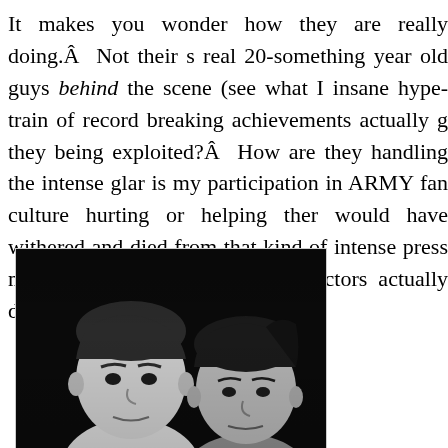It makes you wonder how they are really doing.Â  Not their s real 20-something year old guys behind the scene (see what I insane hype-train of record breaking achievements actually g they being exploited?Â  How are they handling the intense glar is my participation in ARMY fan culture hurting or helping ther would have withered and died from that kind of intense press many of my favorite childhood actors actually did die.
[Figure (photo): Black and white photograph of two young boys (child actors), close together, both looking at the camera with serious expressions.]